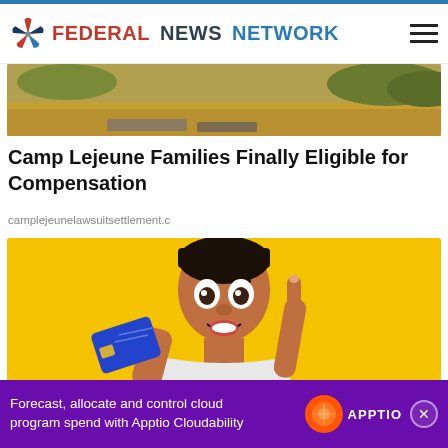FEDERAL NEWS NETWORK
[Figure (photo): Outdoor scene with sandy ground and green vegetation/trees]
Camp Lejeune Families Finally Eligible for Compensation
camplejeunelawsuitsettlement.c
[Figure (photo): Young man with excited expression holding a blue credit card and pointing up with one finger, against a yellow background]
[Figure (infographic): Advertisement banner: Forecast, allocate and control cloud program spend with Apptio Cloudability. Purple background with Apptio logo.]